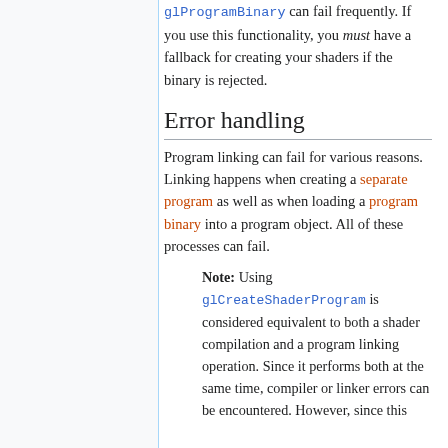glProgramBinary can fail frequently. If you use this functionality, you must have a fallback for creating your shaders if the binary is rejected.
Error handling
Program linking can fail for various reasons. Linking happens when creating a separate program as well as when loading a program binary into a program object. All of these processes can fail.
Note: Using glCreateShaderProgram is considered equivalent to both a shader compilation and a program linking operation. Since it performs both at the same time, compiler or linker errors can be encountered. However, since this